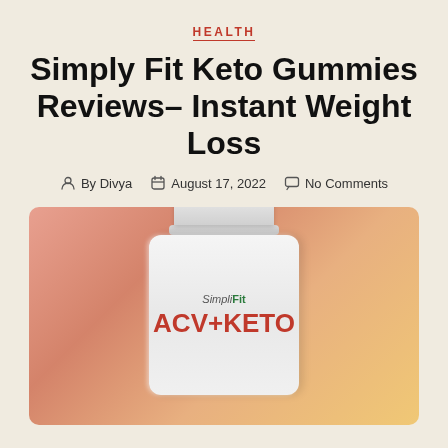HEALTH
Simply Fit Keto Gummies Reviews– Instant Weight Loss
By Divya   August 17, 2022   No Comments
[Figure (photo): Product photo of SimpliFit ACV+KETO supplement bottle on a warm orange-peach gradient background]